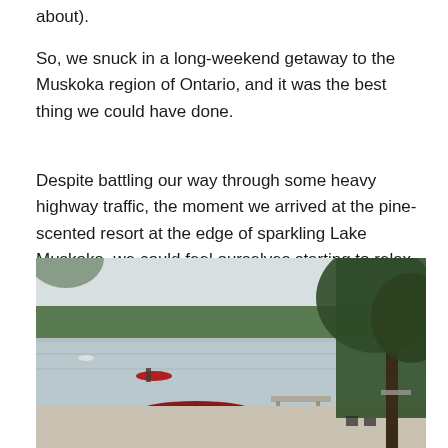about).
So, we snuck in a long-weekend getaway to the Muskoka region of Ontario, and it was the best thing we could have done.
Despite battling our way through some heavy highway traffic, the moment we arrived at the pine-scented resort at the edge of sparkling Lake Muskoka, we could feel ourselves starting to relax.
[Figure (photo): A scenic lakeside view at Lake Muskoka showing calm water, a forested shoreline in the background, a red canoe beached on shore, a person paddling a red kayak on the water, docks, and large leafy trees in the foreground right. Several chairs and boats are visible near the shore.]